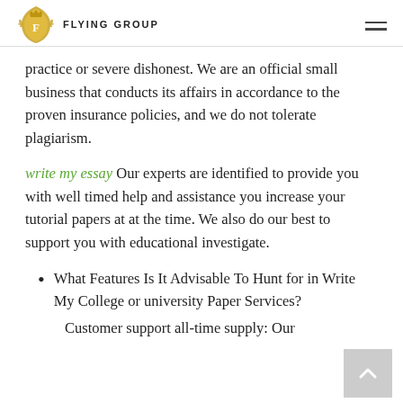FLYING GROUP
practice or severe dishonest. We are an official small business that conducts its affairs in accordance to the proven insurance policies, and we do not tolerate plagiarism.
write my essay Our experts are identified to provide you with well timed help and assistance you increase your tutorial papers at at the time. We also do our best to support you with educational investigate.
What Features Is It Advisable To Hunt for in Write My College or university Paper Services?
Customer support all-time supply: Our